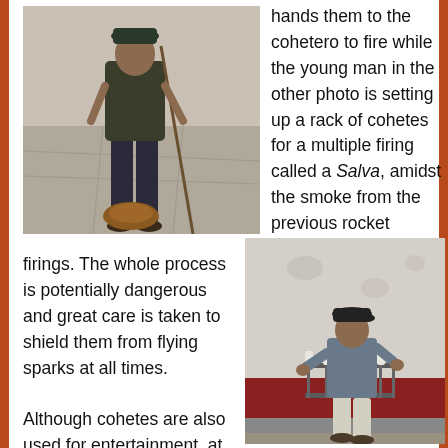[Figure (photo): A man standing on a stone/concrete plaza holding what appears to be a stick or rod, with a hat or bag on the ground near his feet. Outdoor daytime scene.]
hands them to the cohetero to fire while the young man in the other photo is setting up a rack of cohetes for a multiple firing called a Salva, amidst the smoke from the previous rocket
firings. The whole process is potentially dangerous and great care is taken to shield them from flying sparks at all times.

Although cohetes are also used for entertainment, at public
[Figure (photo): A man in a cap and grey shirt setting up a metal rack of cohetes (rockets) against a wall with red and grey sections. Outdoor scene.]